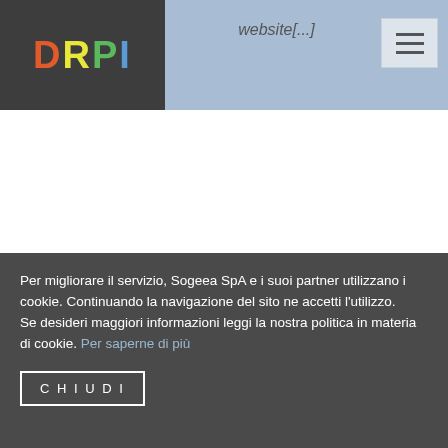DRPI
website[...]
bohemian coffee table
Reply
Per migliorare il servizio, Sogeea SpA e i suoi partner utilizzano i cookie. Continuando la navigazione del sito ne accetti l'utilizzo.
Se desideri maggiori informazioni leggi la nostra politica in materia di cookie. Per saperne di più
CHIUDI